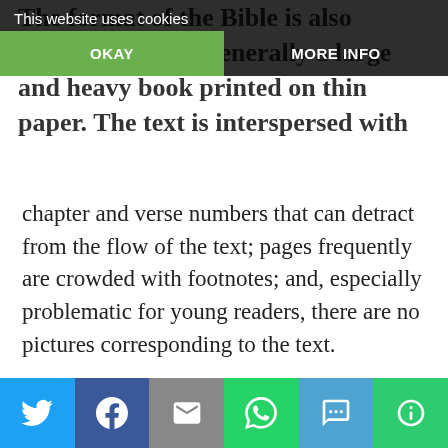The format of the Bible is also challenging: it is generally a large and heavy book printed on thin [paper. The] text is interspersed with chapter and verse numbers that can detract from the flow of the text; pages frequently are crowded with footnotes; and, especially problematic for young readers, there are no pictures corresponding to the text.
[Figure (screenshot): Cookie consent overlay with 'This website uses cookies' message, OKAY button (green) and MORE INFO button, overlaid on the background text]
Faced with these choices, which were unsatisfactory to my purpose, I began editing my own volume of the Gospels with the aim of filling the gap between children's bibles and adult bibles, and producing something truly beautiful for both my family and the
[Figure (infographic): Social sharing bar at bottom with Twitter (blue), Facebook (dark blue), Email (gray), WhatsApp (green), SMS (light blue), and More (green) buttons]